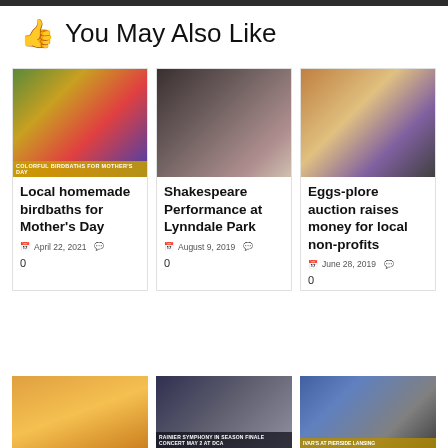You May Also Like
[Figure (photo): Colorful birdbaths outdoors with caption 'COLORFUL BIRDBATHS FOR MOTHER'S DAY']
Local homemade birdbaths for Mother's Day
April 22, 2021  0
[Figure (photo): Three people in period costume performing Shakespeare]
Shakespeare Performance at Lynndale Park
August 9, 2019  0
[Figure (photo): Group of people posing at an event]
Eggs-plore auction raises money for local non-profits
June 28, 2019  0
[Figure (photo): Baby with yellow balloon]
[Figure (photo): Rainier Symphony in Season Finale concert with text overlay]
[Figure (photo): Ivar's at Pierside Lansing storefront]